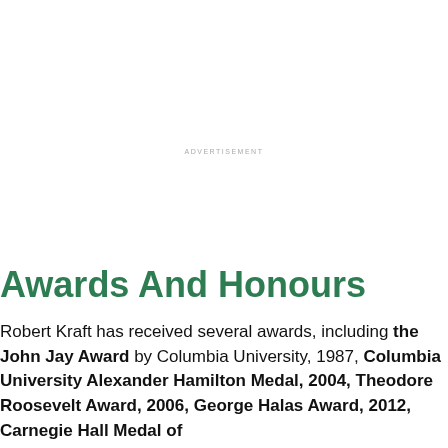ADVERTISEMENT
Awards And Honours
Robert Kraft has received several awards, including the John Jay Award by Columbia University, 1987, Columbia University Alexander Hamilton Medal, 2004, Theodore Roosevelt Award, 2006, George Halas Award, 2012, Carnegie Hall Medal of